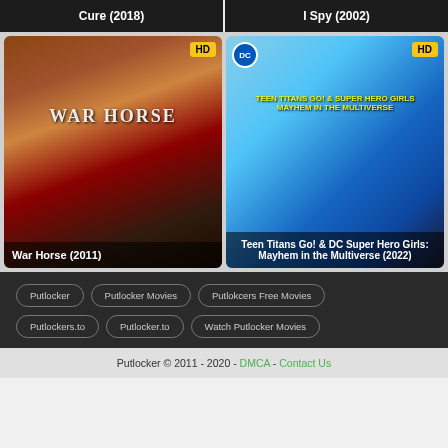[Figure (screenshot): Movie thumbnail strip showing Cure (2018) on left and I Spy (2002) on right, dark background]
[Figure (photo): War Horse (2011) movie poster - brown horse and soldier on warm-toned background with WAR HORSE title text, HD badge top right]
War Horse (2011)
[Figure (illustration): Teen Titans Go! & DC Super Hero Girls: Mayhem in the Multiverse (2022) animated movie poster with DC logo, colorful characters on blue background, HD badge top right]
Teen Titans Go! & DC Super Hero Girls: Mayhem in the Multiverse (2022)
Putlocker
Putlocker Movies
Putlokcers Free Movies
Putlockers.to
Putlocker.to
Watch Putlocker Movies
Putlocker © 2011 - 2020 - DMCA - Contact Us